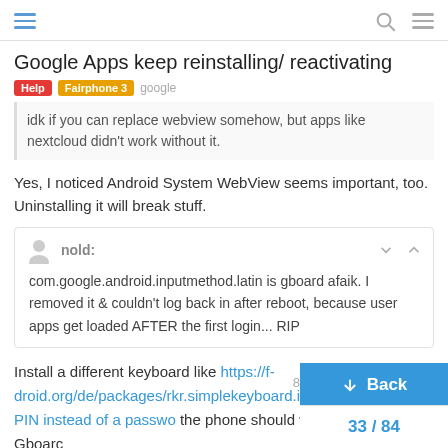Google Apps keep reinstalling/ reactivating — Help | Fairphone 3 | google
Google Apps keep reinstalling/ reactivating
idk if you can replace webview somehow, but apps like nextcloud didn't work without it.
Yes, I noticed Android System WebView seems important, too. Uninstalling it will break stuff.
nold: com.google.android.inputmethod.latin is gboard afaik. I removed it & couldn't log back in after reboot, because user apps get loaded AFTER the first login... RIP
Install a different keyboard like https://f-droid.org/de/packages/rkr.simplekeyboard.in and then use a PIN instead of a passwo the phone should work fine with Gboarc